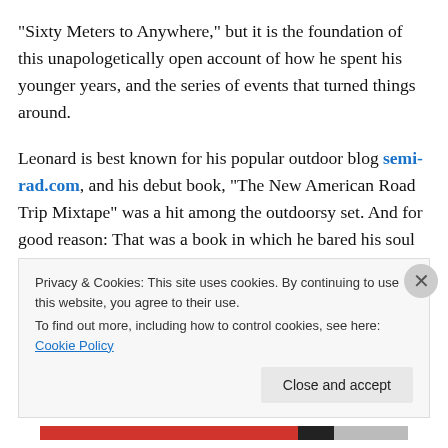“Sixty Meters to Anywhere,” but it is the foundation of this unapologetically open account of how he spent his younger years, and the series of events that turned things around.
Leonard is best known for his popular outdoor blog semi-rad.com, and his debut book, “The New American Road Trip Mixtape” was a hit among the outdoorsy set. And for good reason: That was a book in which he bared his soul while colorfully retelling the journeys he took – literal and metaphorical – across the American West while living out
Privacy & Cookies: This site uses cookies. By continuing to use this website, you agree to their use.
To find out more, including how to control cookies, see here: Cookie Policy
Close and accept